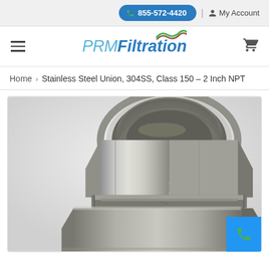855-572-4420 | My Account
[Figure (logo): PRM Filtration logo with wave graphic, hamburger menu icon on left, shopping cart icon on right]
Home > Stainless Steel Union, 304SS, Class 150 – 2 Inch NPT
[Figure (photo): Close-up photograph of a stainless steel pipe union fitting, 304SS, Class 150, 2 Inch NPT. The fitting shows the hexagonal nut body and threaded female NPT opening, silver metallic finish.]